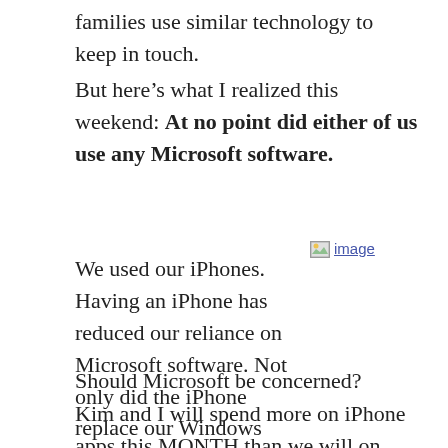families use similar technology to keep in touch.
But here’s what I realized this weekend: At no point did either of us use any Microsoft software.
[Figure (other): Broken image placeholder labeled 'image']
We used our iPhones. Having an iPhone has reduced our reliance on Microsoft software. Not only did the iPhone replace our Windows Mobile phones but it’s also replacing many activities that used to require a PC.
Should Microsoft be concerned?
Kim and I will spend more on iPhone apps this MONTH than we will on Microsoft software this